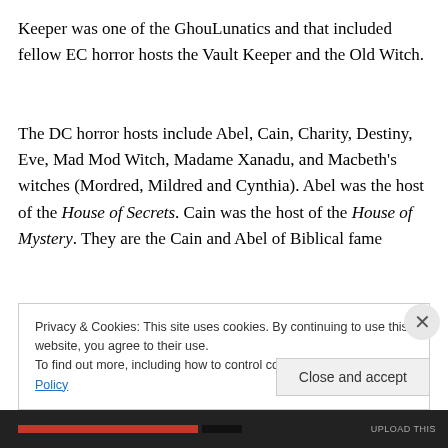Keeper was one of the GhouLunatics and that included fellow EC horror hosts the Vault Keeper and the Old Witch.
The DC horror hosts include Abel, Cain, Charity, Destiny, Eve, Mad Mod Witch, Madame Xanadu, and Macbeth's witches (Mordred, Mildred and Cynthia). Abel was the host of the House of Secrets. Cain was the host of the House of Mystery. They are the Cain and Abel of Biblical fame
Privacy & Cookies: This site uses cookies. By continuing to use this website, you agree to their use.
To find out more, including how to control cookies, see here: Cookie Policy
Close and accept